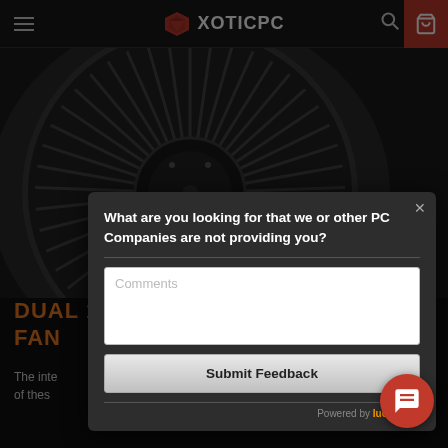[Figure (screenshot): XOTICPC website navigation bar with hamburger menu, logo, search icon, and red cart icon]
[Figure (photo): Close-up photo of a laptop dual fan / heatsink assembly showing spinning fan blades]
DUAL 1
FAN
The inte
of thes
[Figure (screenshot): Modal dialog overlay: 'What are you looking for that we or other PC Companies are not providing you?' with Comments textarea, Submit Feedback button, and Powered by luckyorange branding]
What are you looking for that we or other PC Companies are not providing you?
Comments
Submit Feedback
Powered by luckyorange